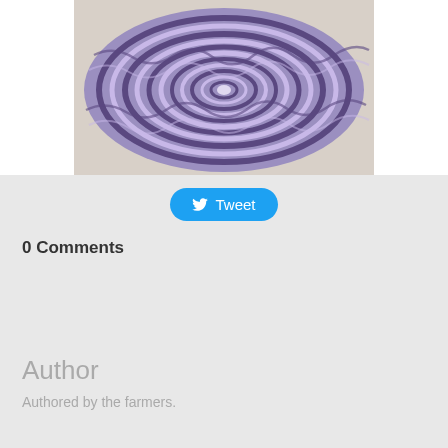[Figure (photo): Cross-section of a red/purple cabbage showing intricate spiral pattern of leaves in purple and white colors]
Tweet
0 Comments
Author
Authored by the farmers.